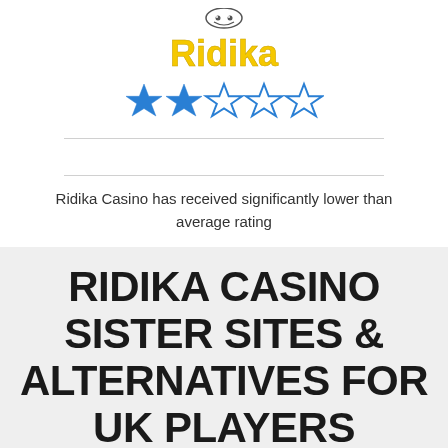[Figure (logo): Ridika Casino logo with stylized yellow text and small icon above]
[Figure (other): Star rating: 2 out of 5 stars filled in blue, 3 empty star outlines in blue]
Ridika Casino has received significantly lower than average rating
RIDIKA CASINO SISTER SITES & ALTERNATIVES FOR UK PLAYERS